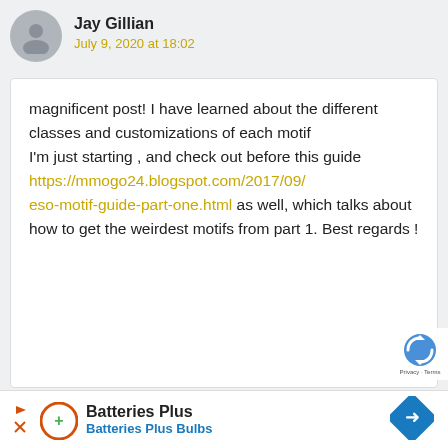Jay Gillian
July 9, 2020 at 18:02
magnificent post! I have learned about the different classes and customizations of each motif
I'm just starting , and check out before this guide
https://mmogo24.blogspot.com/2017/09/eso-motif-guide-part-one.html as well, which talks about how to get the weirdest motifs from part 1. Best regards !
[Figure (infographic): Batteries Plus advertisement banner with logo, play and close icons, and a blue diamond direction sign icon]